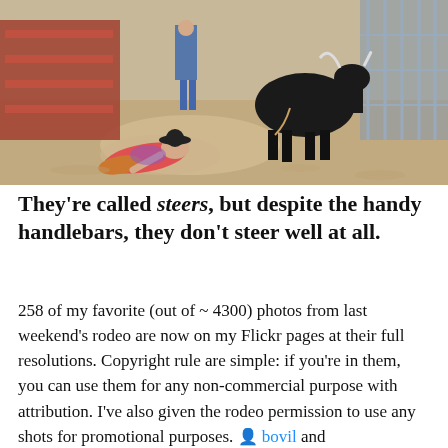[Figure (photo): Rodeo scene: a cowboy has fallen on sandy dirt arena floor, a bull is nearby charging, another person stands in background near red fencing. Dusty chaotic action shot.]
They're called steers, but despite the handy handlebars, they don't steer well at all.
258 of my favorite (out of ~ 4300) photos from last weekend's rodeo are now on my Flickr pages at their full resolutions. Copyright rule are simple: if you're in them, you can use them for any non-commercial purpose with attribution. I've also given the rodeo permission to use any shots for promotional purposes. 👤 bovil and 👤 kproche have the full set of all my rodeo pictures, and